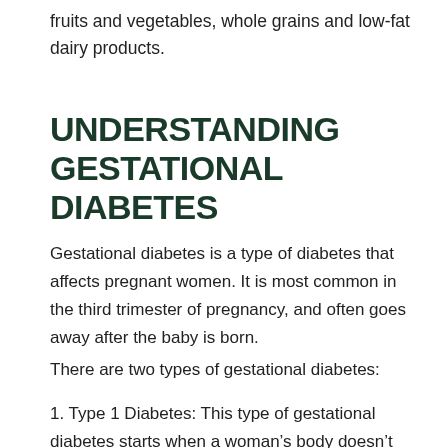fruits and vegetables, whole grains and low-fat dairy products.
UNDERSTANDING GESTATIONAL DIABETES
Gestational diabetes is a type of diabetes that affects pregnant women. It is most common in the third trimester of pregnancy, and often goes away after the baby is born.
There are two types of gestational diabetes:
1. Type 1 Diabetes: This type of gestational diabetes starts when a woman's body doesn't produce enough